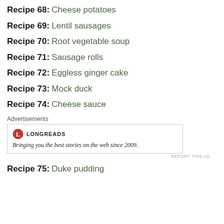Recipe 68: Cheese potatoes
Recipe 69: Lentil sausages
Recipe 70: Root vegetable soup
Recipe 71: Sausage rolls
Recipe 72: Eggless ginger cake
Recipe 73: Mock duck
Recipe 74: Cheese sauce
[Figure (other): Longreads advertisement banner. Logo with red circle 'L' icon and text 'LONGREADS'. Tagline: 'Bringing you the best stories on the web since 2009.']
Recipe 75: Duke pudding